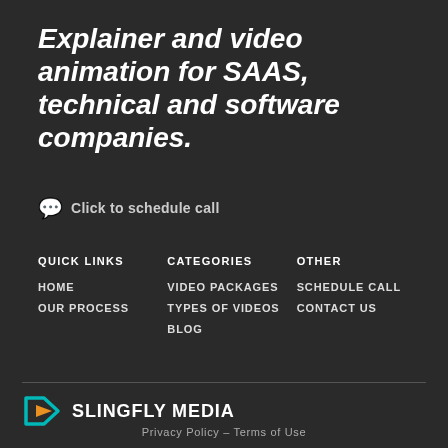Explainer and video animation for SAAS, technical and software companies.
Click to schedule call
QUICK LINKS
CATEGORIES
OTHER
HOME
OUR PROCESS
VIDEO PACKAGES
TYPES OF VIDEOS
BLOG
SCHEDULE CALL
CONTACT US
[Figure (logo): Slingfly Media logo with play button icon in teal and orange]
Privacy Policy – Terms of Use